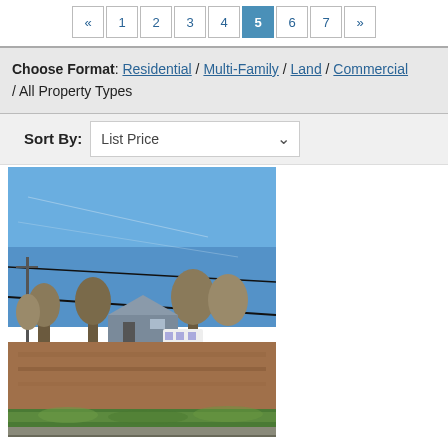« 1 2 3 4 5 6 7 »
Choose Format: Residential / Multi-Family / Land / Commercial / All Property Types
Sort By: List Price
[Figure (photo): Outdoor photo of a vacant land lot with brown dirt field, green grass in foreground, bare trees and a house in the background under a clear blue sky with utility power lines crossing overhead.]